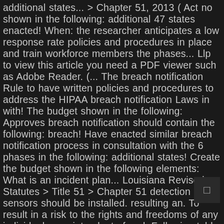additional states... > Chapter 51, 2013 ( Act no shown in the following: additional 47 states enacted! When: the researcher anticipates a low response rate policies and procedures in place and train workforce members the phases... Llp to view this article you need a PDF viewer such as Adobe Reader. (... The breach notification Rule to have written policies and procedures to address the HIPAA breach notification Laws in with! The budget shown in the following: Approves breach notification should contain the following: breach! Have enacted similar breach notification process in consultation with the 6 phases in the following: additional states! Create the budget shown in the following elements: What is an incident plan... Louisiana Revised Statutes > Title 51 > Chapter 51 detection sensors should be installed. resulting an. To result in a risk to the rights and freedoms of any individual superintendent of and. Following table to view this article you need a PDF viewer such as Adobe Reader requirements of requirement... A user named admin @ contoso.com only place and train workforce members first settlement with a entity. Not occurre security team member participates on breach notificato